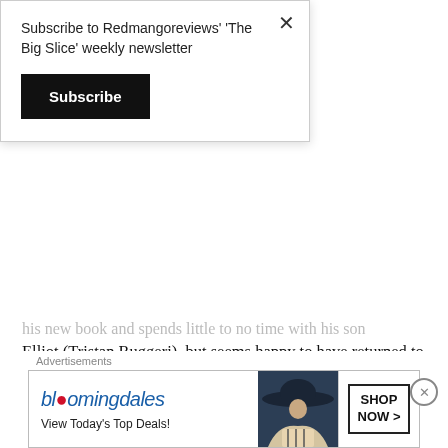Subscribe to Redmangoreviews' 'The Big Slice' weekly newsletter
Subscribe
his new book and spends little to no time with his son Elliot (Tristan Ruggeri), but seems happy to have returned to his hometown with the hopes things will get better for his wife. The only problem is the people of the Scandinavian village seem very strange and Rachel's sanity begins to unravel as she believes these people with their pagan beliefs have dark things in store for her son.
A little while back I watched Woodlands Dark and Days Bewitched: A History of Folk Horror, a fantastic ti…
Advertisements
[Figure (screenshot): Bloomingdale's advertisement banner with logo, 'View Today's Top Deals!' tagline, model wearing large hat, and 'SHOP NOW >' button]